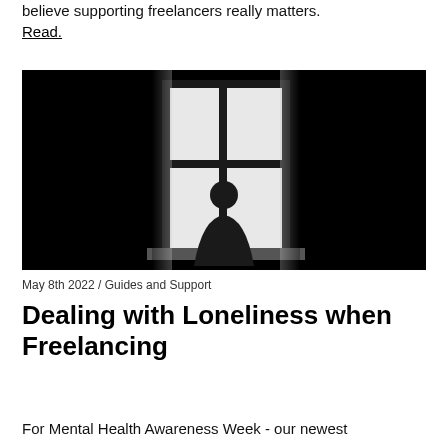believe supporting freelancers really matters. Read.
[Figure (photo): Black and white photo of a person's silhouette standing in front of a bright window with four panes, surrounded by darkness]
May 8th 2022 / Guides and Support
Dealing with Loneliness when Freelancing
For Mental Health Awareness Week - our newest